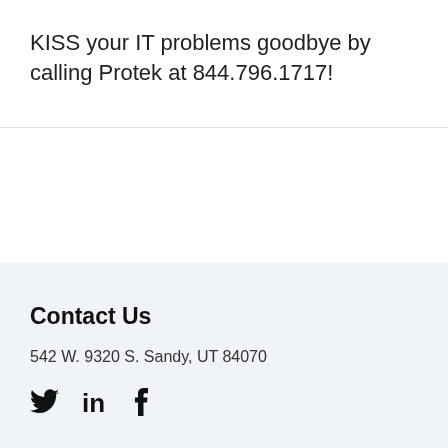KISS your IT problems goodbye by calling Protek at 844.796.1717!
Contact Us
542 W. 9320 S. Sandy, UT 84070
[Figure (illustration): Social media icons: Twitter bird, LinkedIn 'in', Facebook 'f']